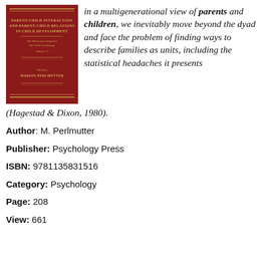[Figure (illustration): Book cover: 'Parent-Child Interaction and Parent-Child Relations in Child Development', The Minnesota Symposia on Child Psychology, Volume 17, edited by Marion Perlmutter. Dark red/maroon cover with gold text and decorative lines.]
in a multigenerational view of parents and children, we inevitably move beyond the dyad and face the problem of finding ways to describe families as units, including the statistical headaches it presents (Hagestad & Dixon, 1980).
Author: M. Perlmutter
Publisher: Psychology Press
ISBN: 9781135831516
Category: Psychology
Page: 208
View: 661